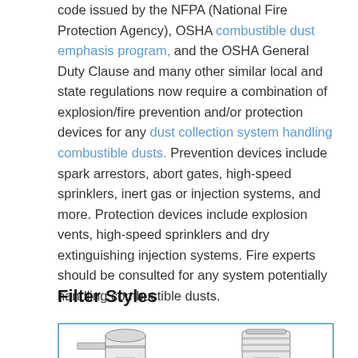code issued by the NFPA (National Fire Protection Agency), OSHA combustible dust emphasis program, and the OSHA General Duty Clause and many other similar local and state regulations now require a combination of explosion/fire prevention and/or protection devices for any dust collection system handling combustible dusts. Prevention devices include spark arrestors, abort gates, high-speed sprinklers, inert gas or injection systems, and more. Protection devices include explosion vents, high-speed sprinklers and dry extinguishing injection systems. Fire experts should be consulted for any system potentially handling combustible dusts.
Filter Styles
[Figure (illustration): Technical illustrations of filter styles showing cross-sectional views of two different dust collector filter designs at the bottom of the page]